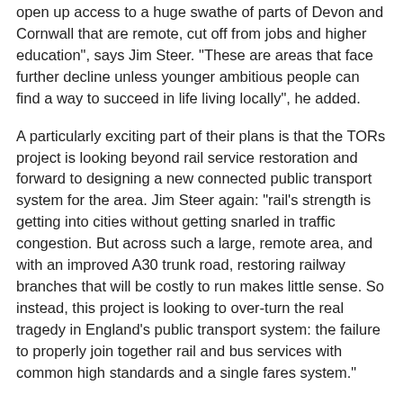open up access to a huge swathe of parts of Devon and Cornwall that are remote, cut off from jobs and higher education", says Jim Steer. "These are areas that face further decline unless younger ambitious people can find a way to succeed in life living locally", he added.
A particularly exciting part of their plans is that the TORs project is looking beyond rail service restoration and forward to designing a new connected public transport system for the area. Jim Steer again: “rail’s strength is getting into cities without getting snarled in traffic congestion. But across such a large, remote area, and with an improved A30 trunk road, restoring railway branches that will be costly to run makes little sense. So instead, this project is looking to over-turn the real tragedy in England’s public transport system: the failure to properly join together rail and bus services with common high standards and a single fares system.”